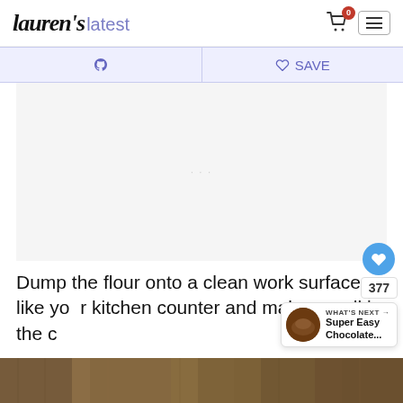Lauren's latest
[Figure (screenshot): Navigation bar with Pinterest and Save/heart share buttons on light purple background]
[Figure (other): Advertisement or image placeholder area, mostly blank/light gray]
Dump the flour onto a clean work surface like yo kitchen counter and make a well in the c
[Figure (photo): Bottom edge of a food photo showing what appears to be a baked chocolate item on a surface]